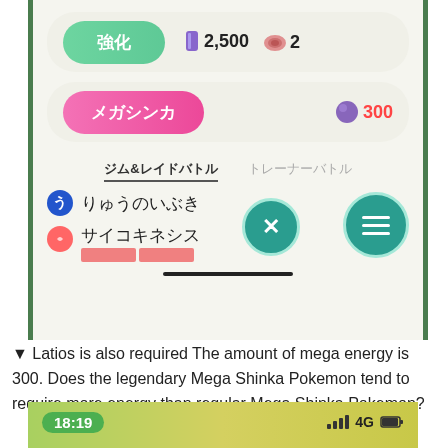[Figure (screenshot): Pokemon GO app screenshot showing power-up (強化) button with 2500 dust and 2 candy cost, Mega Evolution (メガシンカ) button with 300 mega energy cost, move tabs (ジム&レイドバトル / トレーナーバトル), moves りゅうのいぶき and サイコキネシス with action/menu circles]
▼ Latios is also required The amount of mega energy is 300. Does the legendary Mega Shinka Pokemon tend to require more energy than regular Mega Shinka Pokemon?
[Figure (screenshot): Phone status bar showing time 18:19, signal bars, 4G indicator, and battery icon, with blurred yellow-green background and partial number at bottom]